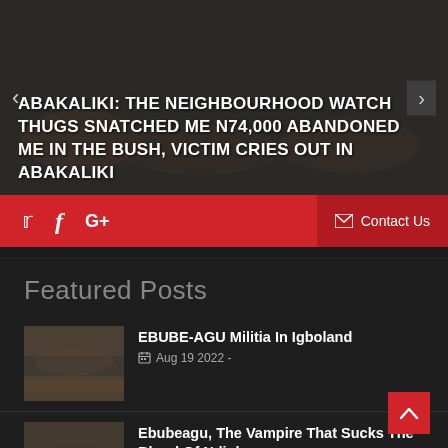[Figure (photo): Hero banner with blurred crowd/people in background and dark overlay, with left and right navigation arrows]
ABAKALIKI: THE NEIGHBOURHOOD WATCH THUGS SNATCHED ME N74,000 ABANDONED ME IN THE BUSH, VICTIM CRIES OUT IN ABAKALIKI
[Figure (infographic): Red social media bar with Twitter bird icon, Facebook f icon, Google+ G+ icon on left, and Contact Us with envelope icon on right dark red section]
Featured Posts
[Figure (photo): Thumbnail of people in military/uniform formation outdoors]
EBUBE-AGU Militia In Igboland
Aug 19 2022 -
[Figure (photo): Thumbnail of people in military/uniform formation outdoors]
Ebubeagu, The Vampire That Sucks The Blood Of Ndigbo
Aug 19 2022 -